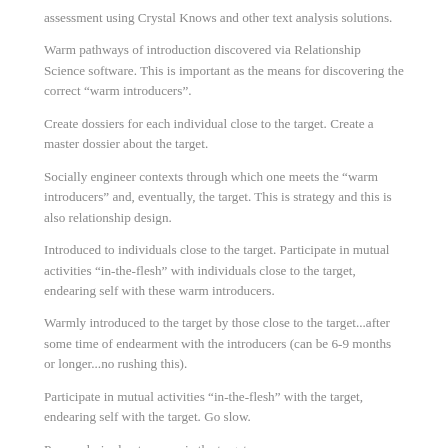assessment using Crystal Knows and other text analysis solutions.
Warm pathways of introduction discovered via Relationship Science software. This is important as the means for discovering the correct “warm introducers”.
Create dossiers for each individual close to the target. Create a master dossier about the target.
Socially engineer contexts through which one meets the “warm introducers” and, eventually, the target. This is strategy and this is also relationship design.
Introduced to individuals close to the target. Participate in mutual activities “in-the-flesh” with individuals close to the target, endearing self with these warm introducers.
Warmly introduced to the target by those close to the target...after some time of endearment with the introducers (can be 6-9 months or longer...no rushing this).
Participate in mutual activities “in-the-flesh” with the target, endearing self with the target. Go slow.
Pursue desired outcomes via the target.